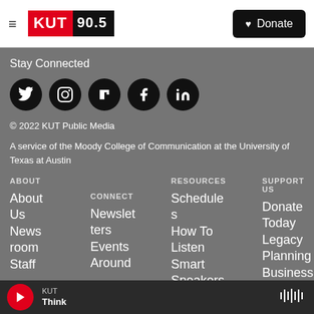KUT 90.5 — Donate
Stay Connected
[Figure (other): Row of five circular social media icons: Twitter, Instagram, Flipboard, Facebook, LinkedIn]
© 2022 KUT Public Media
A service of the Moody College of Communication at the University of Texas at Austin
ABOUT
About Us
Newsroom
Staff
CONNECT
Newsletters
Events
Around
RESOURCES
Schedules
How To Listen
Smart Speakers
SUPPORT US
Donate Today
Legacy Planning
Business
KUT Think